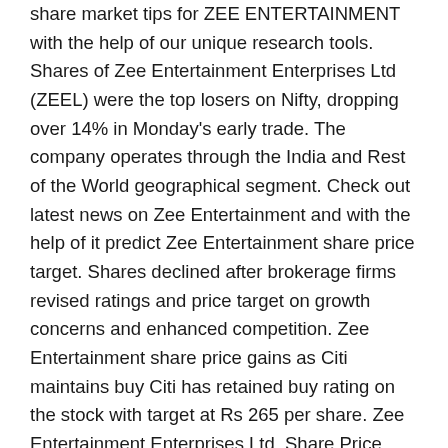share market tips for ZEE ENTERTAINMENT with the help of our unique research tools. Shares of Zee Entertainment Enterprises Ltd (ZEEL) were the top losers on Nifty, dropping over 14% in Monday's early trade. The company operates through the India and Rest of the World geographical segment. Check out latest news on Zee Entertainment and with the help of it predict Zee Entertainment share price target. Shares declined after brokerage firms revised ratings and price target on growth concerns and enhanced competition. Zee Entertainment share price gains as Citi maintains buy Citi has retained buy rating on the stock with target at Rs 265 per share. Zee Entertainment Enterprises Ltd. Share Price. Emkay Global has given a buy rating to Zee Entertainment with a target price of Rs 200. Trading in Commodities is done through our Group Company Dynamic